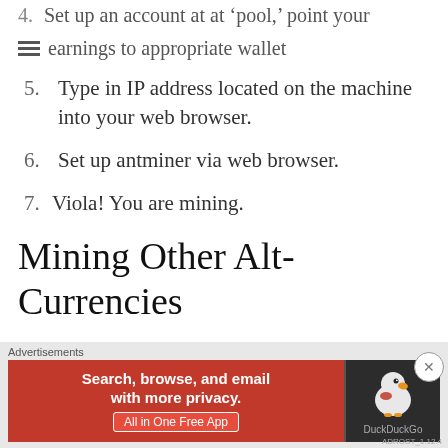4. Set up an account at at 'pool,' point your earnings to appropriate wallet
5. Type in IP address located on the machine into your web browser.
6. Set up antminer via web browser.
7. Viola! You are mining.
Mining Other Alt-Currencies
Mining alt currencies such as ethereum, dash or monero require expensive mining rigs that utilize graphics processor cards used for playing modern videogames. I am not good, at building
[Figure (screenshot): DuckDuckGo advertisement banner: orange left panel with text 'Search, browse, and email with more privacy. All in One Free App' and dark right panel with DuckDuckGo duck logo. Labeled 'Advertisements' above.]